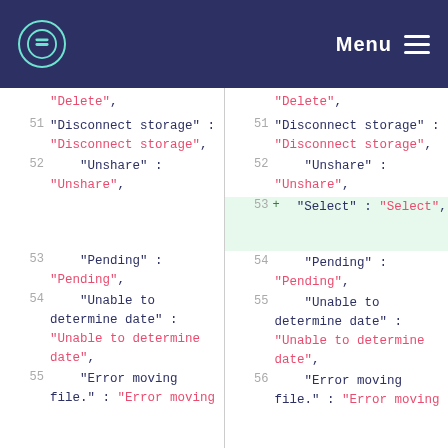Menu (navigation bar with logo)
[Figure (screenshot): Side-by-side code diff view showing JSON localization file changes. Left pane shows original lines 51-55, right pane shows updated lines 51-56 with an added line 53 containing 'Select' : 'Select',]
"Delete",
51  "Disconnect storage" : "Disconnect storage",
52      "Unshare" : "Unshare",
53      "Pending" : "Pending",
54      "Unable to determine date" : "Unable to determine date",
55      "Error moving file." : "Error moving
"Delete",
51  "Disconnect storage" : "Disconnect storage",
52      "Unshare" : "Unshare",
53 +    "Select" : "Select",
54      "Pending" : "Pending",
55      "Unable to determine date" : "Unable to determine date",
56      "Error moving file." : "Error moving